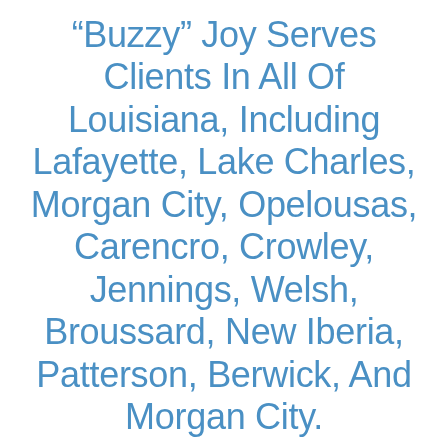“Buzzy” Joy Serves Clients In All Of Louisiana, Including Lafayette, Lake Charles, Morgan City, Opelousas, Carencro, Crowley, Jennings, Welsh, Broussard, New Iberia, Patterson, Berwick, And Morgan City.
→ VIEW OUR SETTLEMENTS